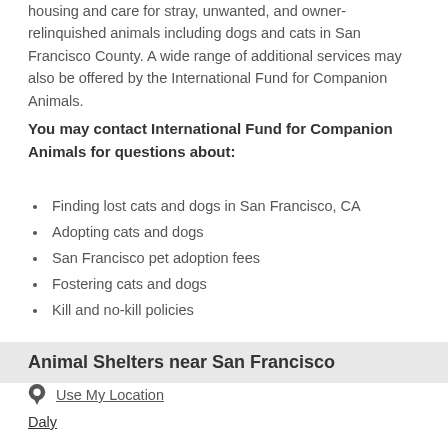housing and care for stray, unwanted, and owner-relinquished animals including dogs and cats in San Francisco County. A wide range of additional services may also be offered by the International Fund for Companion Animals.
You may contact International Fund for Companion Animals for questions about:
Finding lost cats and dogs in San Francisco, CA
Adopting cats and dogs
San Francisco pet adoption fees
Fostering cats and dogs
Kill and no-kill policies
Animal Shelters near San Francisco
Use My Location
Daly
Mill Valley
Berkeley